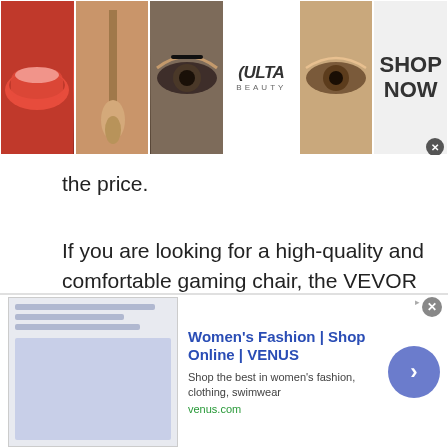[Figure (advertisement): Ulta Beauty banner ad with makeup images (lips, brush, eye, Ulta logo, eye, Shop Now button)]
the price.
If you are looking for a high-quality and comfortable gaming chair, the VEVOR Simulator Cockpit with Real Racing Seat is a great option.
Pros:
Sturdy and long-lasting
[Figure (advertisement): Venus women's fashion online shop ad with thumbnail screenshot, title, description, URL, and arrow button]